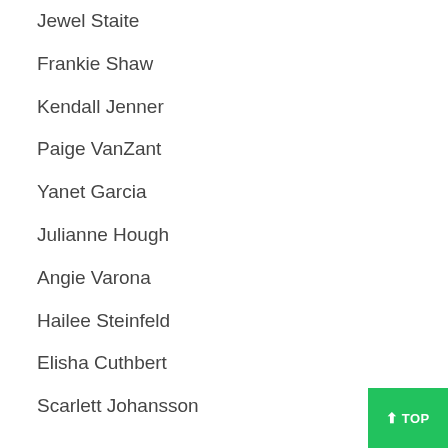Jewel Staite
Frankie Shaw
Kendall Jenner
Paige VanZant
Yanet Garcia
Julianne Hough
Angie Varona
Hailee Steinfeld
Elisha Cuthbert
Scarlett Johansson